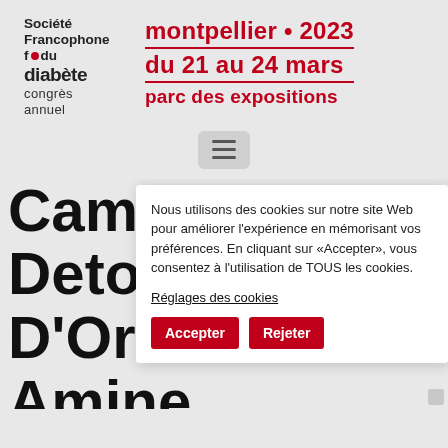[Figure (logo): Société Francophone du Diabète - Congrès Annuel logo with red bullet]
montpellier • 2023
DU 21 au 24 mars
PARC DES EXPOSITIONS
[Figure (other): Hamburger menu button]
Cammi... Detour... D'Orsa... Amine... Bekka,
Nous utilisons des cookies sur notre site Web pour améliorer l'expérience en mémorisant vos préférences. En cliquant sur «Accepter», vous consentez à l'utilisation de TOUS les cookies.
Réglages des cookies
Accepter
Rejeter